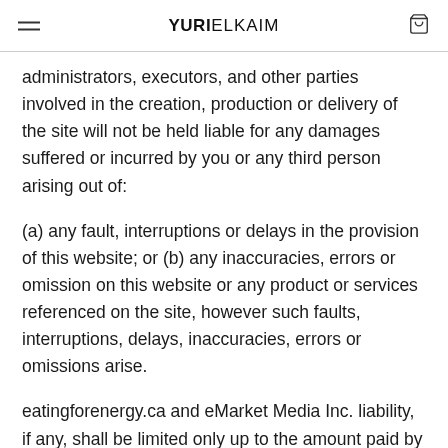YURIELKAIM
administrators, executors, and other parties involved in the creation, production or delivery of the site will not be held liable for any damages suffered or incurred by you or any third person arising out of:
(a) any fault, interruptions or delays in the provision of this website; or (b) any inaccuracies, errors or omission on this website or any product or services referenced on the site, however such faults, interruptions, delays, inaccuracies, errors or omissions arise.
eatingforenergy.ca and eMarket Media Inc. liability, if any, shall be limited only up to the amount paid by